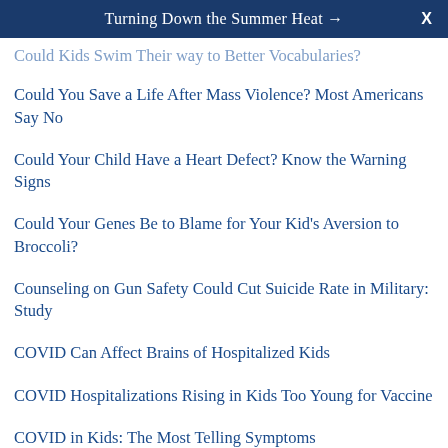Turning Down the Summer Heat →  X
Could Kids Swim Their way to Better Vocabularies?
Could You Save a Life After Mass Violence? Most Americans Say No
Could Your Child Have a Heart Defect? Know the Warning Signs
Could Your Genes Be to Blame for Your Kid's Aversion to Broccoli?
Counseling on Gun Safety Could Cut Suicide Rate in Military: Study
COVID Can Affect Brains of Hospitalized Kids
COVID Hospitalizations Rising in Kids Too Young for Vaccine
COVID in Kids: The Most Telling Symptoms
COVID in Pregnancy Won't Affect Obstetric Outcomes: Study